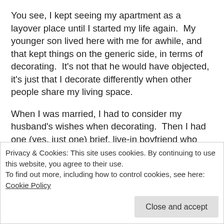You see, I kept seeing my apartment as a layover place until I started my life again.  My younger son lived here with me for awhile, and that kept things on the generic side, in terms of decorating.  It's not that he would have objected, it's just that I decorate differently when other people share my living space.
When I was married, I had to consider my husband's wishes when decorating.  Then I had one (yes, just one) brief, live-in boyfriend who completely redecorated the space in my apartment when he moved in with all his stuff.  Finally, the last place I escaped from lived in was someone else's house, and he controlled everything and everyone in that space.
Privacy & Cookies: This site uses cookies. By continuing to use this website, you agree to their use.
To find out more, including how to control cookies, see here: Cookie Policy